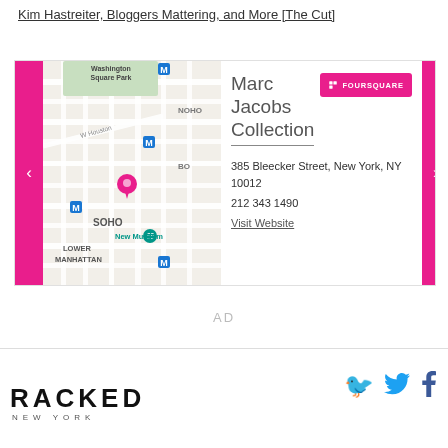Kim Hastreiter, Bloggers Mattering, and More [The Cut]
[Figure (map): Interactive map widget showing Marc Jacobs Collection location in SoHo, New York, with pink location pin near Washington Square Park / New Museum area. Navigation arrows on left and right. Foursquare button and venue info on right side showing: Marc Jacobs Collection, 385 Bleecker Street, New York, NY 10012, 212 343 1490, Visit Website link.]
AD
RACKED NEW YORK